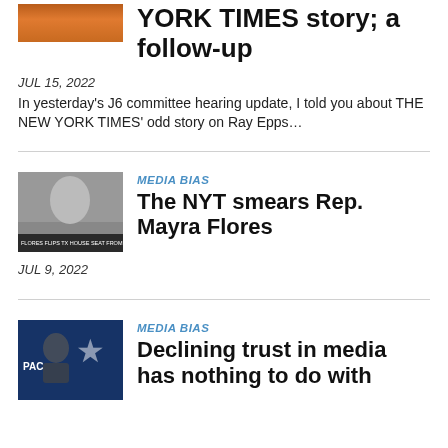[Figure (photo): Partial thumbnail image at top of page, cut off]
YORK TIMES story; a follow-up
JUL 15, 2022
In yesterday's J6 committee hearing update, I told you about THE NEW YORK TIMES' odd story on Ray Epps…
[Figure (photo): Thumbnail of a woman in dark clothing, with lower-third graphic reading FLORES FLIPS TX HOUSE SEAT FROM BLUE TO]
MEDIA BIAS
The NYT smears Rep. Mayra Flores
JUL 9, 2022
[Figure (photo): Thumbnail of Donald Trump speaking at CPAC event]
MEDIA BIAS
Declining trust in media has nothing to do with